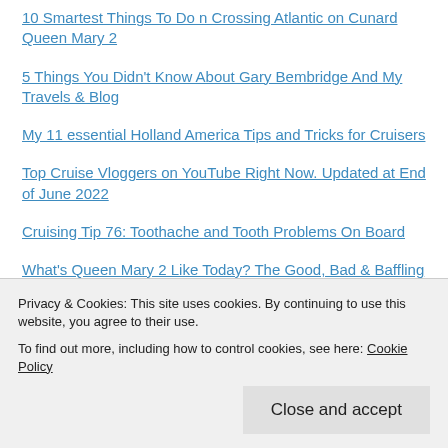10 Smartest Things To Do n Crossing Atlantic on Cunard Queen Mary 2
5 Things You Didn't Know About Gary Bembridge And My Travels & Blog
My 11 essential Holland America Tips and Tricks for Cruisers
Top Cruise Vloggers on YouTube Right Now. Updated at End of June 2022
Cruising Tip 76: Toothache and Tooth Problems On Board
What's Queen Mary 2 Like Today? The Good, Bad & Baffling
The Pros And Cons Of European River Cruises
What To Get Upgraded On A Cruise? 9 Ways That
Privacy & Cookies: This site uses cookies. By continuing to use this website, you agree to their use.
To find out more, including how to control cookies, see here: Cookie Policy
Close and accept